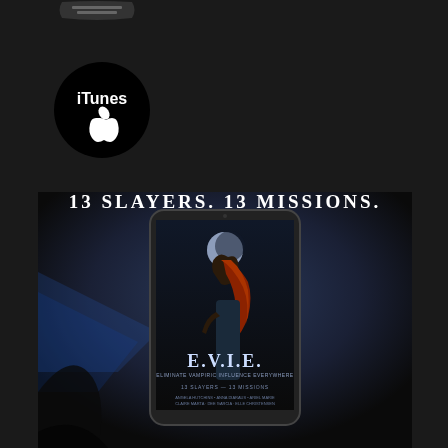[Figure (logo): iTunes logo — black circle with iTunes text and Apple logo in white]
[Figure (photo): Book cover advertisement for E.V.I.E. (Eliminate Vampiric Influence Everywhere) anthology. Shows a tablet device displaying a red-haired female vampire slayer under moonlight. Text reads '13 SLAYERS. 13 MISSIONS.' Authors listed: Angela Hutchins, Anna Diaraus, Ariel Marie, Claire Marta, Dee Garcia, Elle Christensen, K. Webster, Kimbra Swain, Lexi C. Foss, Lily Archer, Mia Young, Richelle Paige, Sandra R. Neeley. Introduction by ScissorCat.]